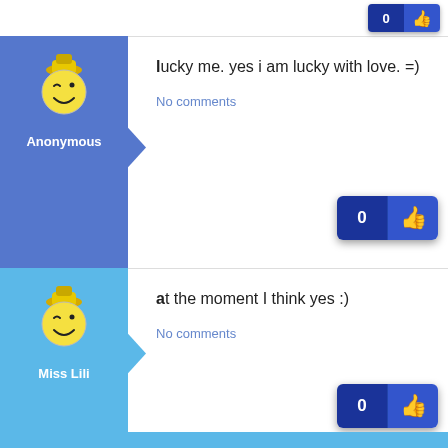[Figure (screenshot): Top partial comment row with like button showing 0 and thumbs up icon]
lucky me. yes i am lucky with love. =)
No comments
Anonymous
at the moment I think yes :)
No comments
Miss Lili